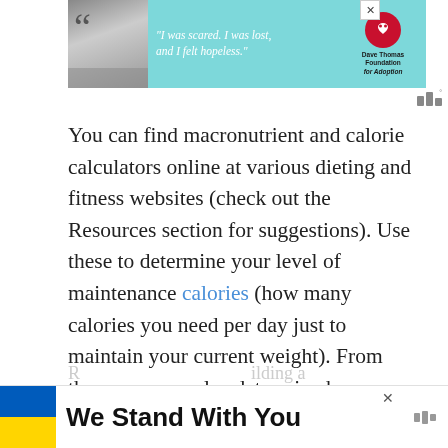[Figure (photo): Advertisement banner at top with a woman's photo, quote text 'I was scared. I was lost, and I felt hopeless.' and Dave Thomas Foundation for Adoption logo on teal background]
You can find macronutrient and calorie calculators online at various dieting and fitness websites (check out the Resources section for suggestions). Use these to determine your level of maintenance calories (how many calories you need per day just to maintain your current weight). From there, you can also determine how many calories to cut if you want to lose weight, how to decide your macronutrient breakdown, and much more.
Protein Intake
[Figure (photo): Advertisement banner at bottom with Ukrainian flag colors (blue and yellow) and text 'We Stand With You']